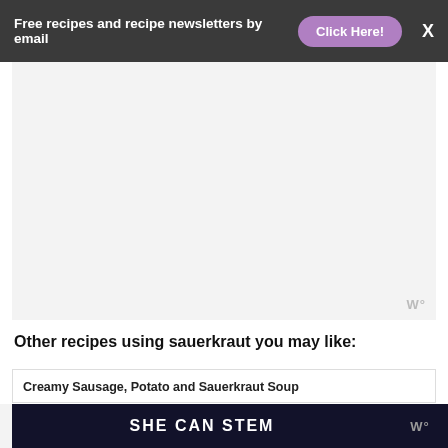Free recipes and recipe newsletters by email   Click Here!   X
[Figure (other): Advertisement placeholder area, light gray background with watermark logo bottom right]
Other recipes using sauerkraut you may like:
Creamy Sausage, Potato and Sauerkraut Soup
[Figure (photo): Food photo showing a dish with MILK text overlay in white bold letters]
[Figure (other): Dark navy advertisement banner with white bold text SHE CAN STEM and WW logo on right side]